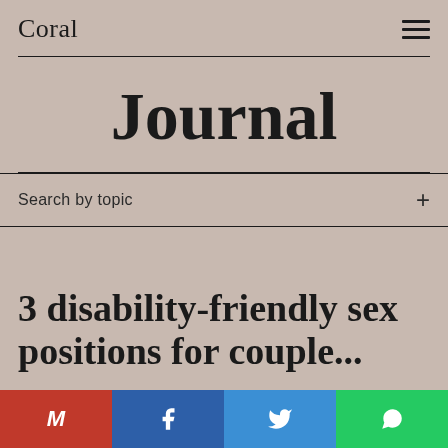Coral
Journal
Search by topic
3 disability-friendly sex positions for couples
[Figure (other): Share bar with Gmail (M), Facebook (f), Twitter (bird icon), and WhatsApp icons]